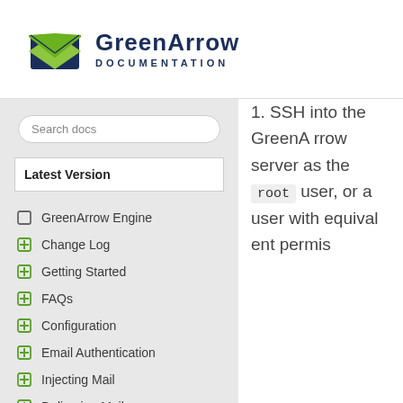[Figure (logo): GreenArrow Documentation logo with green envelope icon and dark blue text]
Search docs
Latest Version
GreenArrow Engine
Change Log
Getting Started
FAQs
Configuration
Email Authentication
Injecting Mail
Delivering Mail
Incoming Email
1. SSH into the GreenArrow server as the root user, or a user with equivalent permis